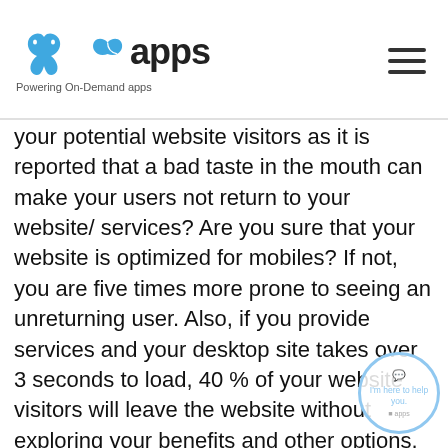apps Powering On-Demand apps
your potential website visitors as it is reported that a bad taste in the mouth can make your users not return to your website/ services? Are you sure that your website is optimized for mobiles? If not, you are five times more prone to seeing an unreturning user. Also, if you provide services and your desktop site takes over 3 seconds to load, 40 % of your website visitors will leave the website without exploring your benefits and other options. No, we did not mean to scare you. Instead, we meant to bring to you the grim realities that you might be overlooking at the moment. If you are about to start a new project that heavily requires UI/UX designing or want to improve your existing websites, apps, services, etc., you can hire a